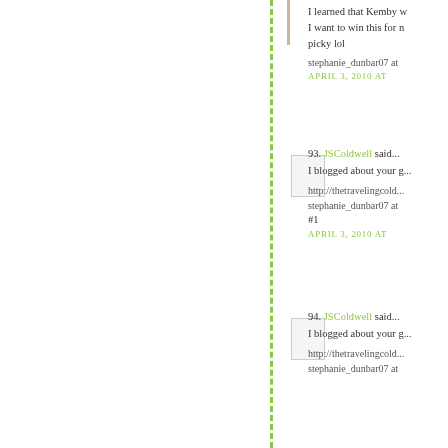I learned that Kemby w... I want to win this for m... picky lol
stephanie_dunbar07 at
APRIL 3, 2010 AT
93. JSColdwell said...
I blogged about your g...
http://thetravelingcold...
stephanie_dunbar07 at
#1
APRIL 3, 2010 AT
94. JSColdwell said...
I blogged about your g...
http://thetravelingcold...
stephanie_dunbar07 at